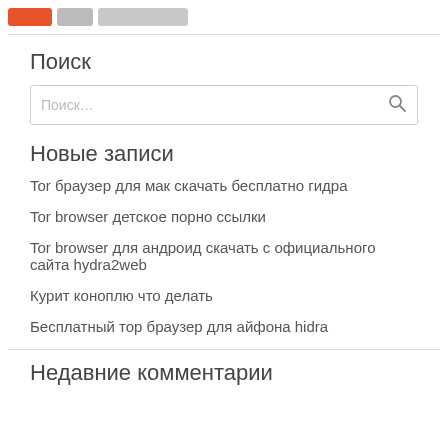[navigation pills: orange, gray, gray]
Поиск
Поиск…
Новые записи
Tor браузер для мак скачать бесплатно гидра
Tor browser детское порно ссылки
Tor browser для андроид скачать с официального сайта hydra2web
Курит коноплю что делать
Бесплатный тор браузер для айфона hidra
Недавние комментарии